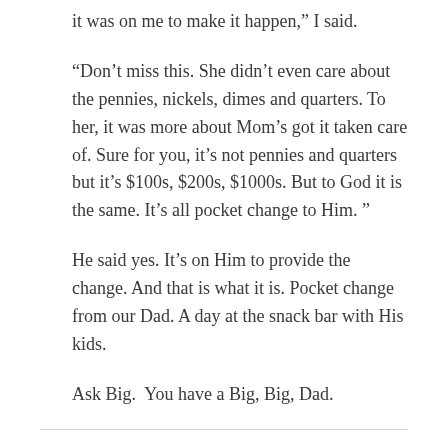it was on me to make it happen,” I said.
“Don’t miss this. She didn’t even care about the pennies, nickels, dimes and quarters. To her, it was more about Mom’s got it taken care of. Sure for you, it’s not pennies and quarters but it’s $100s, $200s, $1000s. But to God it is the same. It’s all pocket change to Him. ”
He said yes. It’s on Him to provide the change. And that is what it is. Pocket change from our Dad. A day at the snack bar with His kids.
Ask Big.  You have a Big, Big, Dad.